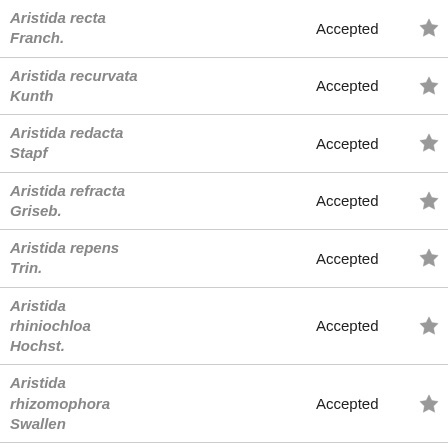| Name | Status |  |
| --- | --- | --- |
| Aristida recta Franch. | Accepted | ★ |
| Aristida recurvata Kunth | Accepted | ★ |
| Aristida redacta Stapf | Accepted | ★ |
| Aristida refracta Griseb. | Accepted | ★ |
| Aristida repens Trin. | Accepted | ★ |
| Aristida rhiniochloa Hochst. | Accepted | ★ |
| Aristida rhizomophora Swallen | Accepted | ★ |
| Aristida rigida Cav. | Accepted | ★ |
| Aristida riograndensis B.M.A.Severo & | Accepted | ★ |